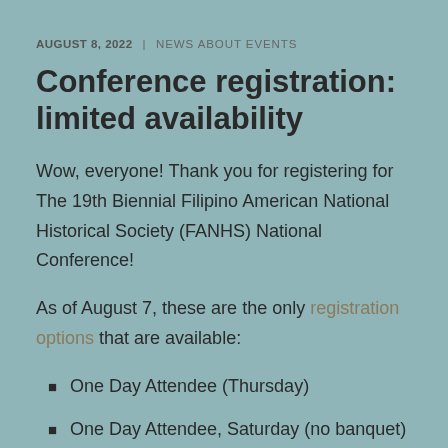AUGUST 8, 2022  |  NEWS ABOUT EVENTS
Conference registration: limited availability
Wow, everyone! Thank you for registering for The 19th Biennial Filipino American National Historical Society (FANHS) National Conference!
As of August 7, these are the only registration options that are available:
One Day Attendee (Thursday)
One Day Attendee, Saturday (no banquet)